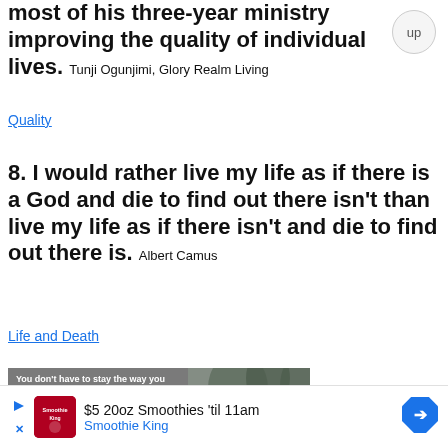most of his three-year ministry improving the quality of individual lives. Tunji Ogunjimi, Glory Realm Living
Quality
8. I would rather live my life as if there is a God and die to find out there isn't than live my life as if there isn't and die to find out there is. Albert Camus
Life and Death
[Figure (photo): Inspirational quote image with text: 'You don't have to stay the way you are because God is a God of change and transformation. He can bring change to your life and bring the best out of you.' - Brian Houston. www.wow4u.com. Background shows a wintry forest scene.]
$5 20oz Smoothies 'til 11am Smoothie King